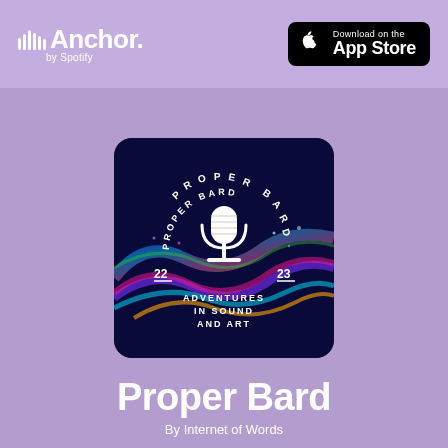[Figure (logo): Anchor by Spotify logo in white on light purple top bar]
[Figure (logo): Download on the App Store button (black rounded rectangle with Apple logo)]
[Figure (illustration): Proper Bard podcast cover art: dark navy background with colorful light streaks/waves, a white microphone icon in center, text 'PROPER BARD' arranged in arc at top, '22' and '23' flanking the mic, 'ADVENTURES IN SOUND AND ART' at bottom]
Proper Bard
By Internet of Words